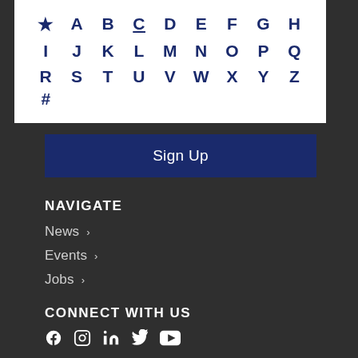[Figure (other): Alphabetical navigation grid with star, letters A-Z, and # symbol in dark navy on white background]
Sign Up
NAVIGATE
News >
Events >
Jobs >
CONNECT WITH US
[Figure (other): Social media icons: Facebook, Instagram, LinkedIn, Twitter, YouTube]